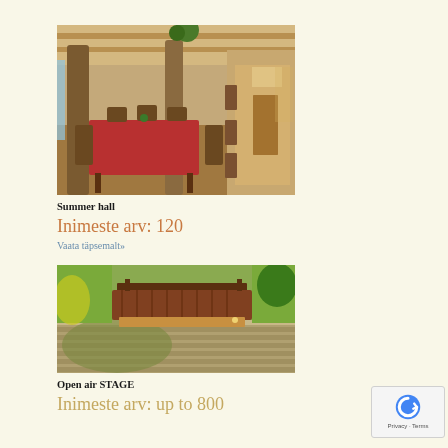[Figure (photo): Interior of a summer hall with wooden beams, columns, red tablecloth on a dining table, chairs, and a long aisle with windows letting in natural light.]
Summer hall
Inimeste arv: 120
Vaata täpsemalt»
[Figure (photo): Outdoor open air stage viewed from above, showing a wooden covered stage structure with a corrugated metal roof, surrounded by grass and with bench seating visible.]
Open air STAGE
Inimeste arv: up to 800